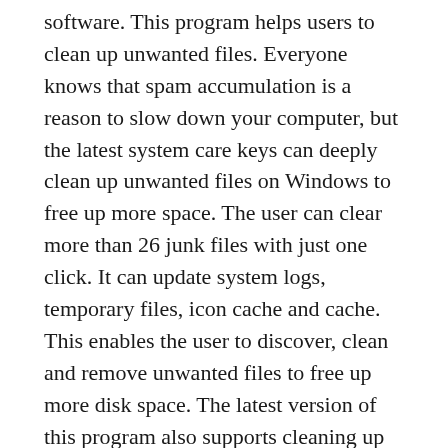software. This program helps users to clean up unwanted files. Everyone knows that spam accumulation is a reason to slow down your computer, but the latest system care keys can deeply clean up unwanted files on Windows to free up more space. The user can clear more than 26 junk files with just one click. It can update system logs, temporary files, icon cache and cache. This enables the user to discover, clean and remove unwanted files to free up more disk space. The latest version of this program also supports cleaning up junk files for all our computer accounts. We are happy to know that this protects our data because we all know that it is important to protect our data from hackers and external parties.
Therefore, Advanced SystemCare Pro Serial Key has added a privacy swap function to clear the privacy traces of more than 200 programs. The redesigned privacy shield for this app allows users to add any files or private folders.